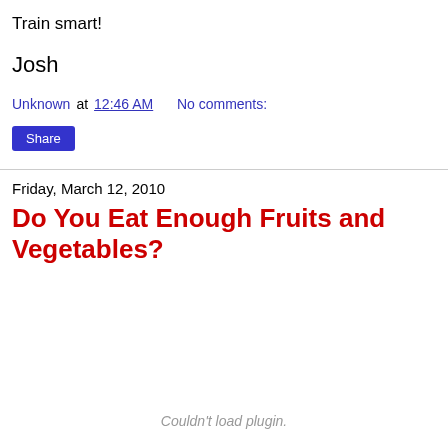Train smart!
Josh
Unknown at 12:46 AM    No comments:
Share
Friday, March 12, 2010
Do You Eat Enough Fruits and Vegetables?
Couldn't load plugin.